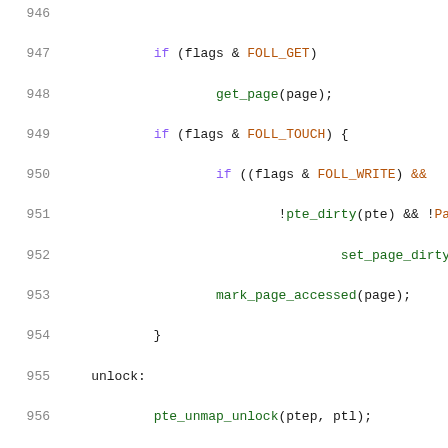Source code listing lines 946-967, C kernel code with syntax highlighting